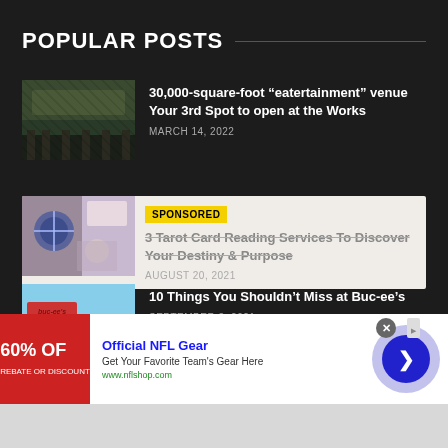POPULAR POSTS
30,000-square-foot “eatertainment” venue Your 3rd Spot to open at the Works
MARCH 14, 2022
SPONSORED
3 Tarot Card Reading Services To Discover Your Destiny & Purpose
AUGUST 20, 2021
10 Things You Shouldn’t Miss at Buc-ee’s
SEPTEMBER 3, 2021
[Figure (screenshot): Ad banner for Official NFL Gear: red image with '60% OFF', blue title, ad URL www.nflshop.com, navigation arrow button]